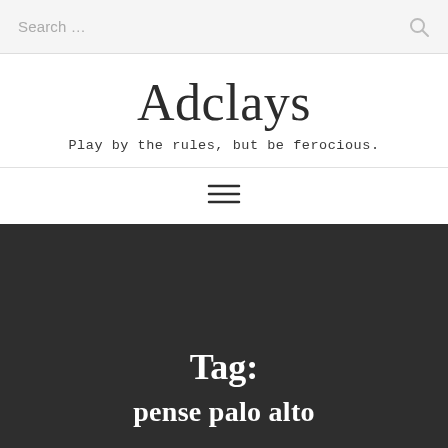Search …
Adclays
Play by the rules, but be ferocious.
[Figure (other): Hamburger menu icon with three horizontal lines]
Tag:
pense palo alto